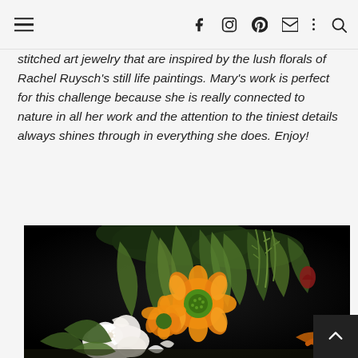Navigation header with hamburger menu and social icons (facebook, instagram, pinterest, email, more, search)
stitched art jewelry that are inspired by the lush florals of Rachel Ruysch's still life paintings. Mary's work is perfect for this challenge because she is really connected to nature in all her work and the attention to the tiniest details always shines through in everything she does. Enjoy!
[Figure (photo): A still life painting in the style of Rachel Ruysch featuring lush florals — white petaled flowers, orange marigolds/calendula, green leafy foliage — against a dark black background.]